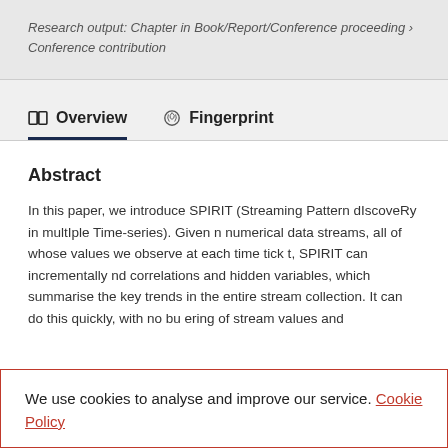Research output: Chapter in Book/Report/Conference proceeding › Conference contribution
Overview
Fingerprint
Abstract
In this paper, we introduce SPIRIT (Streaming Pattern dIscoveRy in multIple Time-series). Given n numerical data streams, all of whose values we observe at each time tick t, SPIRIT can incrementally nd correlations and hidden variables, which summarise the key trends in the entire stream collection. It can do this quickly, with no bu ering of stream values and
We use cookies to analyse and improve our service. Cookie Policy